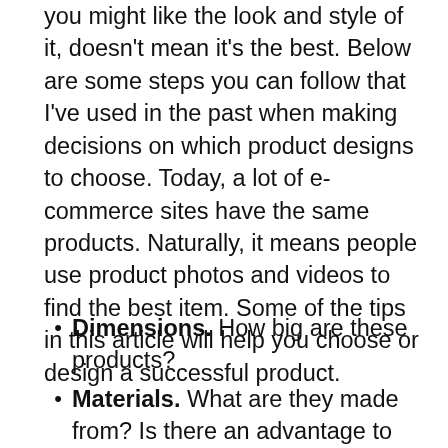you might like the look and style of it, doesn't mean it's the best. Below are some steps you can follow that I've used in the past when making decisions on which product designs to choose. Today, a lot of e-commerce sites have the same products. Naturally, it means people use product photos and videos to find the best item. Some of the tips in this article will help you choose or design a successful product.
Dimensions. How big are these products?
Materials. What are they made from? Is there an advantage to choosing one material over another?
Generic characteristics. What sort of features do products in this category